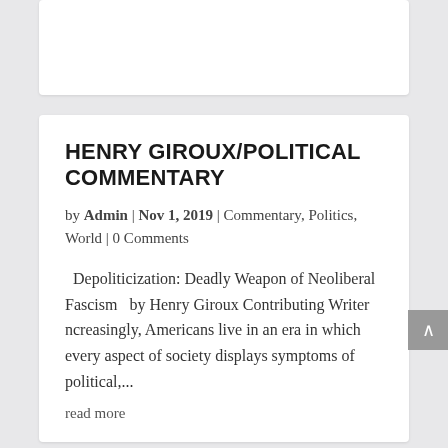HENRY GIROUX/POLITICAL COMMENTARY
by Admin | Nov 1, 2019 | Commentary, Politics, World | 0 Comments
Depoliticization: Deadly Weapon of Neoliberal Fascism   by Henry Giroux Contributing Writer ncreasingly, Americans live in an era in which every aspect of society displays symptoms of political,...
read more